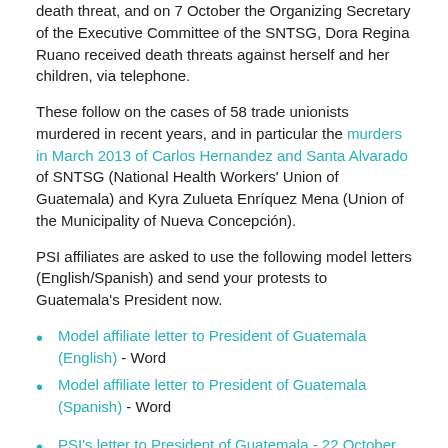death threat, and on 7 October the Organizing Secretary of the Executive Committee of the SNTSG, Dora Regina Ruano received death threats against herself and her children, via telephone.
These follow on the cases of 58 trade unionists murdered in recent years, and in particular the murders in March 2013 of Carlos Hernandez and Santa Alvarado of SNTSG (National Health Workers' Union of Guatemala) and Kyra Zulueta Enríquez Mena (Union of the Municipality of Nueva Concepción).
PSI affiliates are asked to use the following model letters (English/Spanish) and send your protests to Guatemala's President now.
Model affiliate letter to President of Guatemala (English) - Word
Model affiliate letter to President of Guatemala (Spanish) - Word
PSI's letter to President of Guatemala - 22 October 2013 (English) - PDF
PSI's letter to President of Guatemala - 8 October 2013